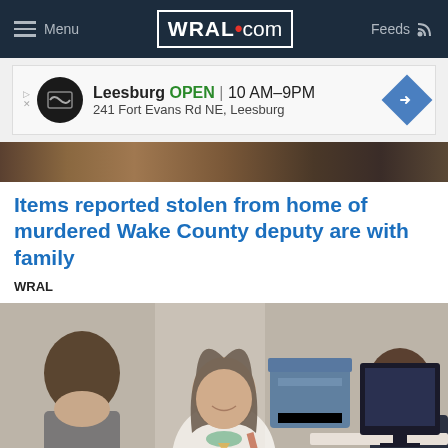Menu | WRAL.com | Feeds
[Figure (screenshot): WRAL.com navigation bar with hamburger menu, WRAL.com logo, and Feeds icon on dark navy background]
[Figure (screenshot): Advertisement banner for Leesburg location showing logo, open hours 10AM-9PM, address 241 Fort Evans Rd NE, Leesburg, and navigation arrow icon]
[Figure (photo): Partial face or head shot, close-cropped, dark tones]
Items reported stolen from home of murdered Wake County deputy are with family
WRAL
[Figure (photo): Office scene with three people: person with curly hair on left, smiling woman with long dark hair in white top and colorful necklace in center, and person on right near a desk with a monitor and printer in background]